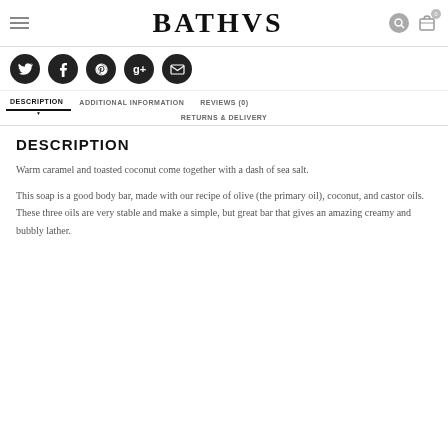BATHVS
[Figure (other): Social media sharing icons: Twitter, Facebook, Pinterest, Google+, Email]
DESCRIPTION | ADDITIONAL INFORMATION | REVIEWS (0) | RETURNS & DELIVERY
DESCRIPTION
Warm caramel and toasted coconut come together with a dash of sea salt.
This soap is a good body bar, made with our recipe of olive (the primary oil), coconut, and castor oils. These three oils are very stable and make a simple, but great bar that gives an amazing creamy and bubbly lather.